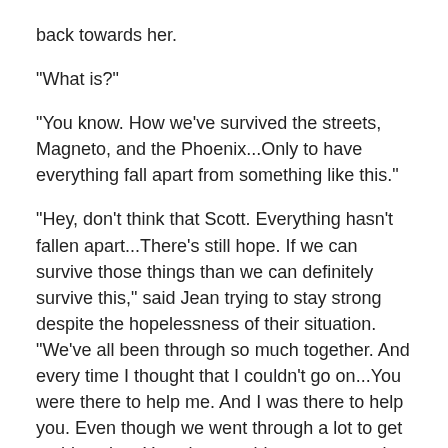back towards her.
"What is?"
"You know. How we've survived the streets, Magneto, and the Phoenix...Only to have everything fall apart from something like this."
"Hey, don't think that Scott. Everything hasn't fallen apart...There's still hope. If we can survive those things than we can definitely survive this," said Jean trying to stay strong despite the hopelessness of their situation. "We've all been through so much together. And every time I thought that I couldn't go on...You were there to help me. And I was there to help you. Even though we went through a lot to get to this point...You always told me to never give up hope no matter what. Don't let that fail you now..."